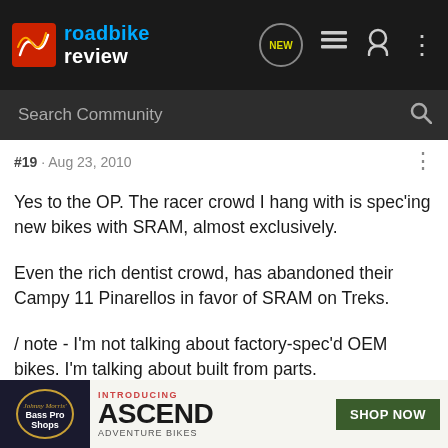roadbike review
Search Community
#19 · Aug 23, 2010
Yes to the OP. The racer crowd I hang with is spec'ing new bikes with SRAM, almost exclusively.

Even the rich dentist crowd, has abandoned their Campy 11 Pinarellos in favor of SRAM on Treks.

/ note - I'm not talking about factory-spec'd OEM bikes. I'm talking about built from parts.
* not actu...
[Figure (screenshot): Advertisement for Bass Pro Shops ASCEND Adventure Bikes with a Shop Now button]